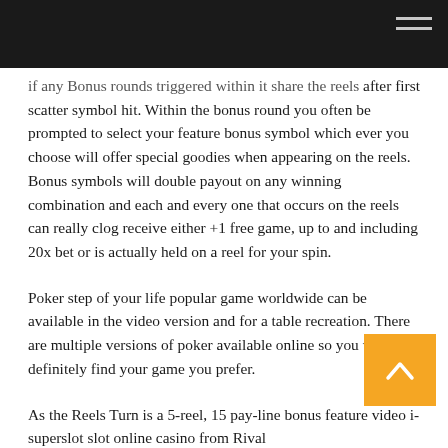[navigation bar]
if any Bonus rounds triggered within it share the reels after first scatter symbol hit. Within the bonus round you often be prompted to select your feature bonus symbol which ever you choose will offer special goodies when appearing on the reels. Bonus symbols will double payout on any winning combination and each and every one that occurs on the reels can really clog receive either +1 free game, up to and including 20x bet or is actually held on a reel for your spin.
Poker step of your life popular game worldwide can be available in the video version and for a table recreation. There are multiple versions of poker available online so you will definitely find your game you prefer.
As the Reels Turn is a 5-reel, 15 pay-line bonus feature video i-superslot slot online casino from Rival